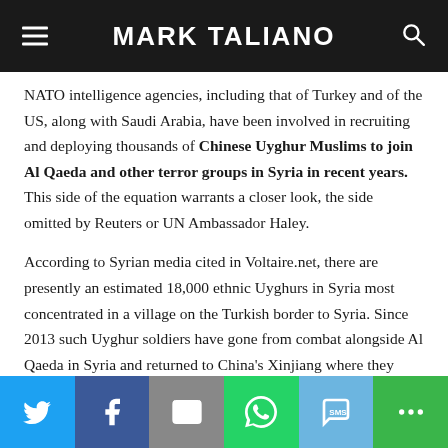MARK TALIANO
NATO intelligence agencies, including that of Turkey and of the US, along with Saudi Arabia, have been involved in recruiting and deploying thousands of Chinese Uyghur Muslims to join Al Qaeda and other terror groups in Syria in recent years. This side of the equation warrants a closer look, the side omitted by Reuters or UN Ambassador Haley.
According to Syrian media cited in Voltaire.net, there are presently an estimated 18,000 ethnic Uyghurs in Syria most concentrated in a village on the Turkish border to Syria. Since 2013 such Uyghur soldiers have gone from combat alongside Al Qaeda in Syria and returned to China's Xinjiang where they have carried out various terrorist acts. This is the